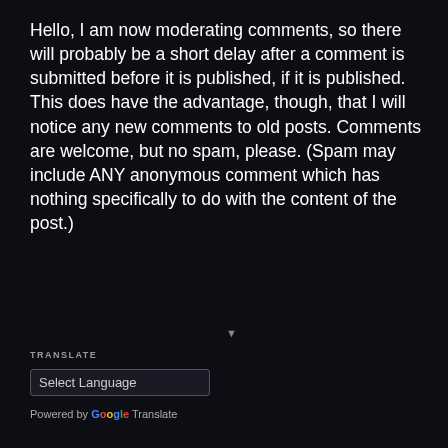Hello, I am now moderating comments, so there will probably be a short delay after a comment is submitted before it is published, if it is published. This does have the advantage, though, that I will notice any new comments to old posts. Comments are welcome, but no spam, please. (Spam may include ANY anonymous comment which has nothing specifically to do with the content of the post.)
TRANSLATE
Select Language
Powered by Google Translate